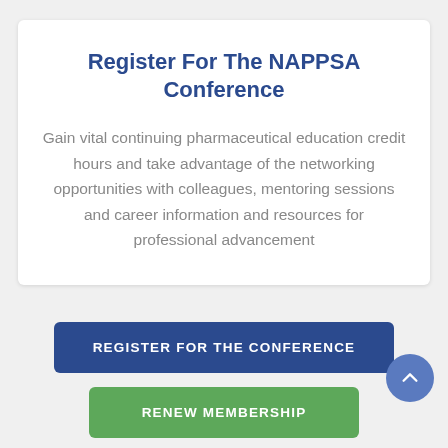Register For The NAPPSA Conference
Gain vital continuing pharmaceutical education credit hours and take advantage of the networking opportunities with colleagues, mentoring sessions and career information and resources for professional advancement
REGISTER FOR THE CONFERENCE
RENEW MEMBERSHIP